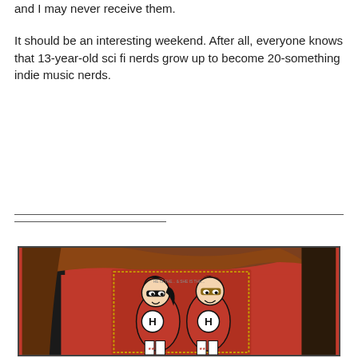and I may never receive them.

It should be an interesting weekend. After all, everyone knows that 13-year-old sci fi nerds grow up to become 20-something indie music nerds.
[Figure (photo): Person wearing a red t-shirt with two cartoon superhero characters printed on it, both wearing red suits with the letter H on their chests. The person has long reddish-brown hair. The photo is cropped to show only the torso area.]